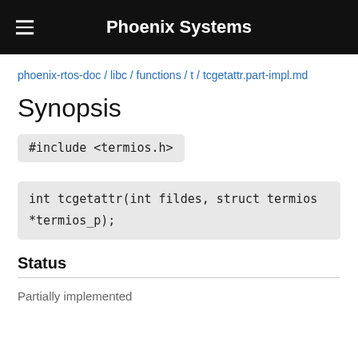Phoenix Systems
phoenix-rtos-doc / libc / functions / t / tcgetattr.part-impl.md
Synopsis
Status
Partially implemented